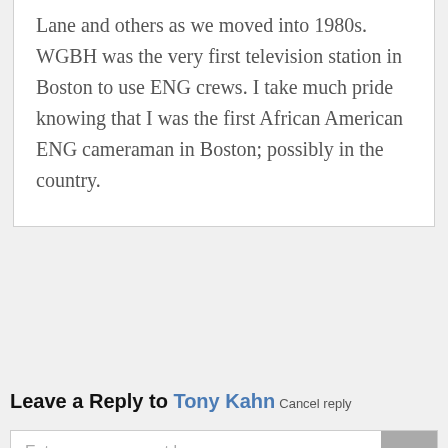Lane and others as we moved into 1980s. WGBH was the very first television station in Boston to use ENG crews. I take much pride knowing that I was the first African American ENG cameraman in Boston; possibly in the country.
Reply
Leave a Reply to Tony Kahn Cancel reply
Enter your comment here...